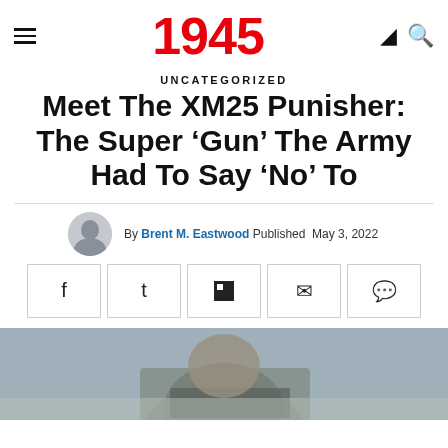1945
UNCATEGORIZED
Meet The XM25 Punisher: The Super ‘Gun’ The Army Had To Say ‘No’ To
By Brent M. Eastwood Published May 3, 2022
[Figure (photo): Partial photo of a soldier in camouflage uniform holding a weapon, cropped at the bottom of the page]